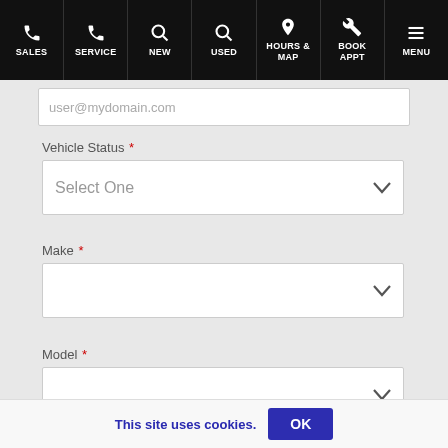SALES | SERVICE | NEW | USED | HOURS & MAP | BOOK APPT | MENU
user@mydomain.com
Vehicle Status *
Select One
Make *
Model *
This site uses cookies. OK